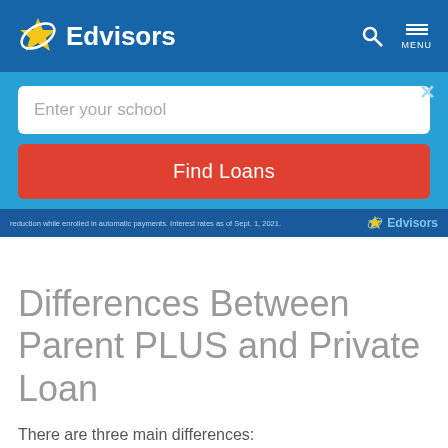Edvisors
[Figure (screenshot): Edvisors website header with blue background, star logo, search icon and menu icon]
[Figure (screenshot): Modal overlay with 'Enter your school' input box and 'Find Loans' red button on light blue background]
reduction while enrolled in automatic payments. Interest rates as of Sept. 1, 2021.
Differences Between Parent PLUS and Private Loan
There are three main differences:
Lender: Parent PLUS Loans are federal student loans. The federal government is the lender. Private student loans are offered by private financial institutions, such